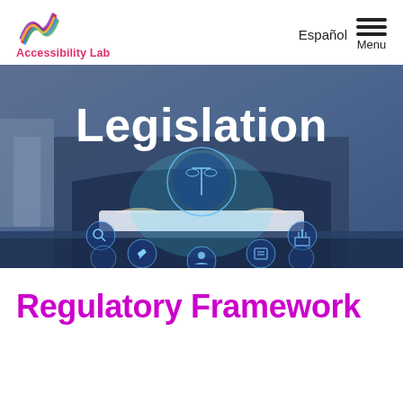[Figure (logo): Accessibility Lab logo with colorful brush stroke icon and red text]
Español  Menu
[Figure (photo): Person in suit typing on tablet with holographic legal icons including scales of justice, gavel, search, courthouse, and figure icons glowing in blue. Large white bold text 'Legislation' overlaid on the image.]
Regulatory Framework